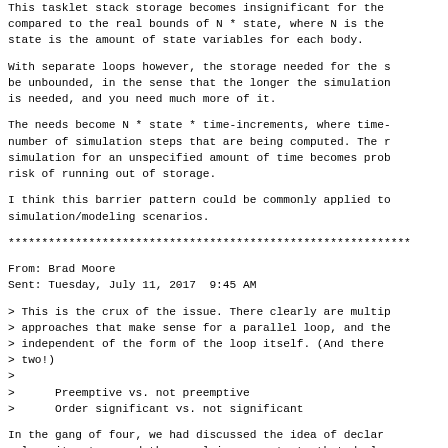This tasklet stack storage becomes insignificant for the compared to the real bounds of N * state, where N is the state is the amount of state variables for each body.
With separate loops however, the storage needed for the s be unbounded, in the sense that the longer the simulation is needed, and you need much more of it.
The needs become N * state * time-increments, where time- number of simulation steps that are being computed. The r simulation for an unspecified amount of time becomes prob risk of running out of storage.
I think this barrier pattern could be commonly applied to simulation/modeling scenarios.
************************************************************
From: Brad Moore
Sent: Tuesday, July 11, 2017  9:45 AM
> This is the crux of the issue. There clearly are multip
> approaches that make sense for a parallel loop, and the
> independent of the form of the loop itself. (And there
> two!)
>
>      Preemptive vs. not preemptive
>      Order significant vs. not significant
In the gang of four, we had discussed the idea of declar a loop iterator, and then applying aspects to that decl